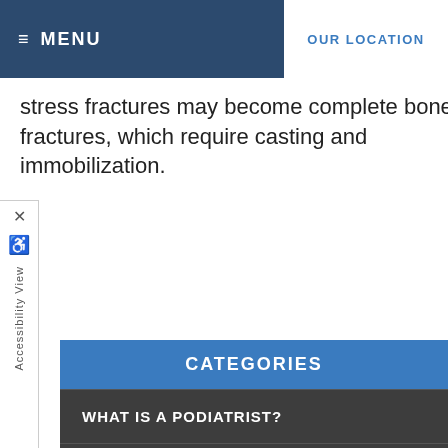≡ MENU   OUR LOCATION
stress fractures may become complete bone fractures, which require casting and immobilization.
CATEGORIES
WHAT IS A PODIATRIST?
WHEN TO CALL A DOCTOR
FOOT ANATOMY
▶ OVERVIEW OF FOOT AND ANKLE PROBLEMS
BASIC FOOT CARE GUIDELINES
FOOT PROBLEMS